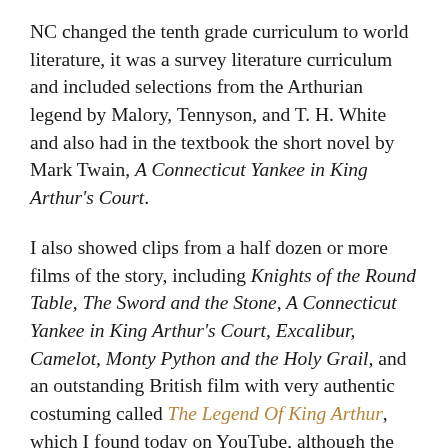NC changed the tenth grade curriculum to world literature, it was a survey literature curriculum and included selections from the Arthurian legend by Malory, Tennyson, and T. H. White and also had in the textbook the short novel by Mark Twain, A Connecticut Yankee in King Arthur's Court.
I also showed clips from a half dozen or more films of the story, including Knights of the Round Table, The Sword and the Stone, A Connecticut Yankee in King Arthur's Court, Excalibur, Camelot, Monty Python and the Holy Grail, and an outstanding British film with very authentic costuming called The Legend Of King Arthur, which I found today on YouTube, although the quality is very poor. I fell in love with this ancient story, which has been told and retold over so many centuries in so many variations.